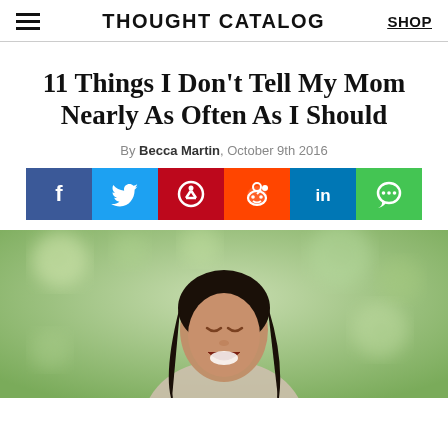THOUGHT CATALOG
11 Things I Don’t Tell My Mom Nearly As Often As I Should
By Becca Martin, October 9th 2016
[Figure (infographic): Social sharing buttons: Facebook (blue), Twitter (light blue), Pinterest (red), Reddit (orange-red), LinkedIn (dark blue), Chat (green)]
[Figure (photo): A laughing woman with dark hair, outdoors with blurred green bokeh background]